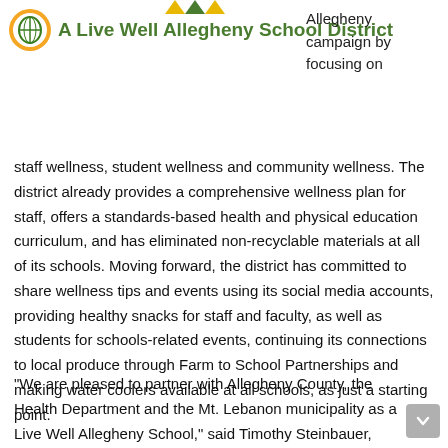[Figure (logo): Live Well Allegheny School District logo — circular badge with green leaf/school icon and orange ring, accompanied by green arrow icons above]
A Live Well Allegheny School District
Allegheny campaign by focusing on
staff wellness, student wellness and community wellness. The district already provides a comprehensive wellness plan for staff, offers a standards-based health and physical education curriculum, and has eliminated non-recyclable materials at all of its schools. Moving forward, the district has committed to share wellness tips and events using its social media accounts, providing healthy snacks for staff and faculty, as well as students for schools-related events, continuing its connections to local produce through Farm to School Partnerships and making water coolers available at all schools, as just a starting point.
"We are pleased to partner with Allegheny County, the Health Department and the Mt. Lebanon municipality as a Live Well Allegheny School," said Timothy Steinbauer, Ed.D.